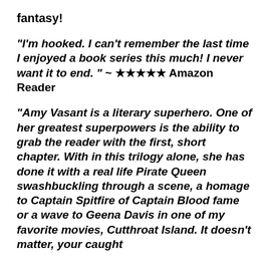fantasy!
"I'm hooked. I can't remember the last time I enjoyed a book series this much! I never want it to end. " ~ ★★★★★ Amazon Reader
"Amy Vasant is a literary superhero. One of her greatest superpowers is the ability to grab the reader with the first, short chapter. With in this trilogy alone, she has done it with a real life Pirate Queen swashbuckling through a scene, a homage to Captain Spitfire of Captain Blood fame or a wave to Geena Davis in one of my favorite movies, Cutthroat Island. It doesn't matter, your caught